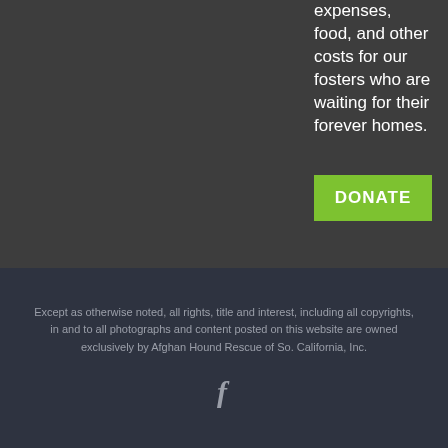expenses, food, and other costs for our fosters who are waiting for their forever homes.
DONATE
Except as otherwise noted, all rights, title and interest, including all copyrights, in and to all photographs and content posted on this website are owned exclusively by Afghan Hound Rescue of So. California, Inc.